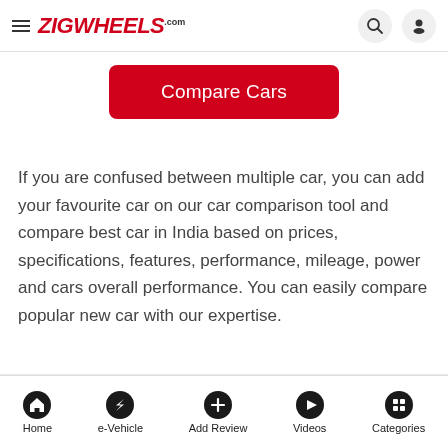ZIGWHEELS.com
Compare Cars
If you are confused between multiple car, you can add your favourite car on our car comparison tool and compare best car in India based on prices, specifications, features, performance, mileage, power and cars overall performance. You can easily compare popular new car with our expertise.
Home | e-Vehicle | Add Review | Videos | Categories